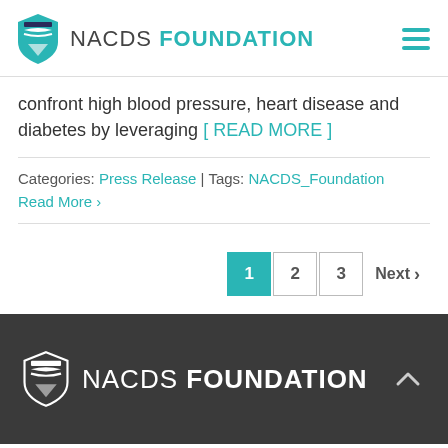NACDS FOUNDATION
confront high blood pressure, heart disease and diabetes by leveraging [ READ MORE ]
Categories: Press Release | Tags: NACDS_Foundation
Read More ›
NACDS FOUNDATION — pagination: 1 2 3 Next ›